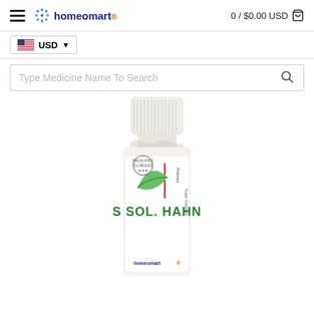[Figure (screenshot): Homeomart website header with hamburger menu, logo, and cart showing 0 / $0.00 USD]
0 / $0.00 USD
USD
Type Medicine Name To Search
[Figure (photo): Homeopathic medicine bottle labeled 'S SOL. HAHN' with green leaf design, showing Potency label, Sugar Globules, from Homeomart brand]